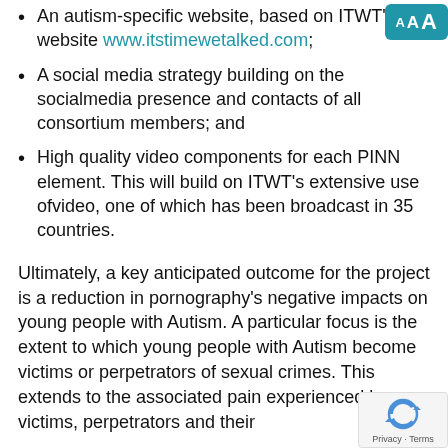An autism-specific website, based on ITWT's website www.itstimewetalked.com;
A social media strategy building on the socialmedia presence and contacts of all consortium members; and
High quality video components for each PINN element. This will build on ITWT's extensive use ofvideo, one of which has been broadcast in 35 countries.
Ultimately, a key anticipated outcome for the project is a reduction in pornography's negative impacts on young people with Autism. A particular focus is the extent to which young people with Autism become victims or perpetrators of sexual crimes. This extends to the associated pain experienced by victims, perpetrators and their